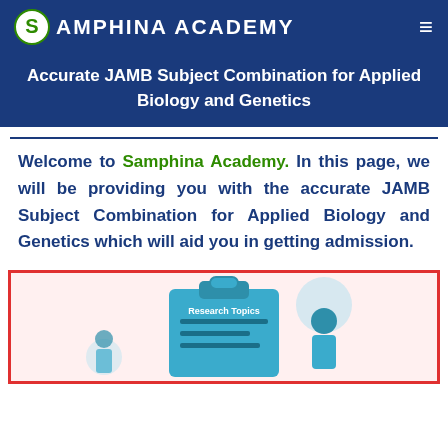SAMPHINA ACADEMY
Accurate JAMB Subject Combination for Applied Biology and Genetics
Welcome to Samphina Academy. In this page, we will be providing you with the accurate JAMB Subject Combination for Applied Biology and Genetics which will aid you in getting admission.
[Figure (illustration): Clipboard illustration with 'Research Topics' text and a figure, with decorative circles, inside a red-bordered pink box]